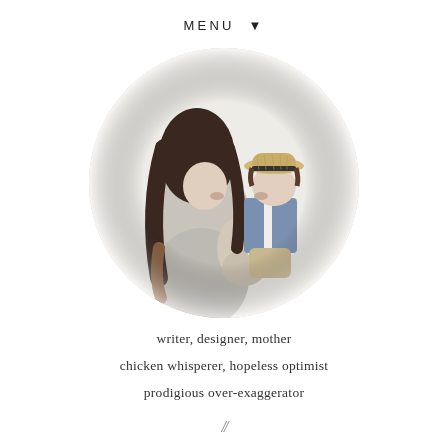MENU ▼
[Figure (photo): A woman with long dark hair wearing a grey dress kisses a young child wearing a straw hat and denim vest, set in a circular cropped photo with a light background.]
writer, designer, mother
chicken whisperer, hopeless optimist
prodigious over-exaggerator
//